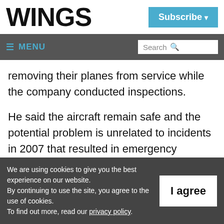WINGS
Subscribe
≡ MENU  Search
removing their planes from service while the company conducted inspections.
He said the aircraft remain safe and the potential problem is unrelated to incidents in 2007 that resulted in emergency landings in
We are using cookies to give you the best experience on our website. By continuing to use the site, you agree to the use of cookies. To find out more, read our privacy policy.
I agree